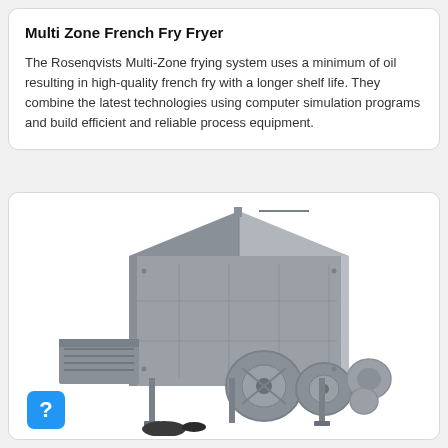Multi Zone French Fry Fryer
The Rosenqvists Multi-Zone frying system uses a minimum of oil resulting in high-quality french fry with a longer shelf life. They combine the latest technologies using computer simulation programs and build efficient and reliable process equipment.
[Figure (illustration): 3D rendering of a Rosenqvists Multi Zone French Fry Fryer industrial machine, shown in gray/silver color, featuring a large rectangular enclosure with a barn-like roof, conveyor input on the left, mechanical components including wheels and drive systems on the right front, and various industrial fittings.]